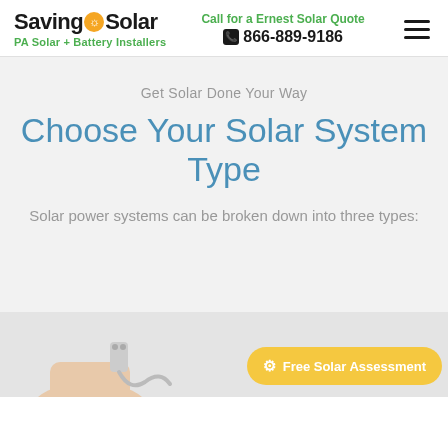SavingOnSolar — PA Solar + Battery Installers | Call for a Ernest Solar Quote 866-889-9186
Get Solar Done Your Way
Choose Your Solar System Type
Solar power systems can be broken down into three types:
[Figure (photo): Hand holding a power plug, bottom portion of page]
Free Solar Assessment